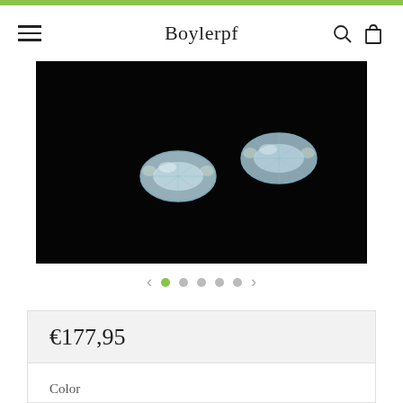Boylerpf
[Figure (photo): Two oval faceted aquamarine gemstones in gold settings on a black background, photographed close-up from above.]
€177,95
Color